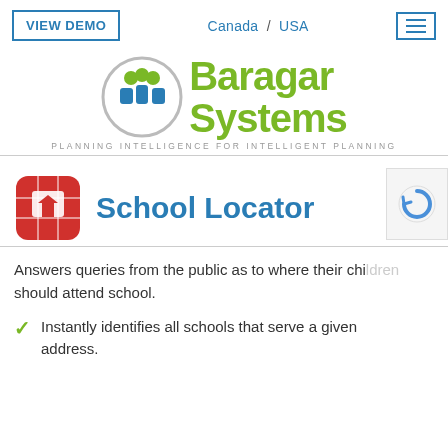[Figure (screenshot): Navigation bar with VIEW DEMO button, Canada / USA links, and hamburger menu icon]
[Figure (logo): Baragar Systems logo with circular icon showing people figures (green and blue) and stylized text 'Baragar Systems' in green, tagline: PLANNING INTELLIGENCE FOR INTELLIGENT PLANNING]
School Locator
Answers queries from the public as to where their children should attend school.
Instantly identifies all schools that serve a given address.